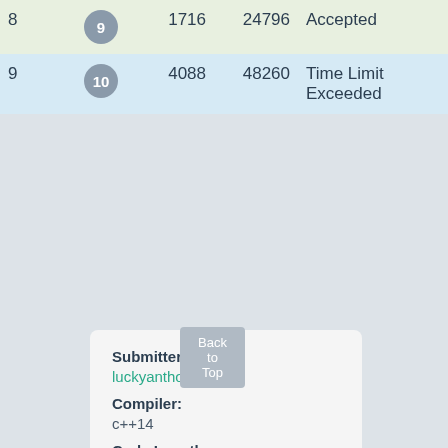| # | Test | A | B | Status | Score |
| --- | --- | --- | --- | --- | --- |
| 8 | 9 | 1716 | 24796 | Accepted | 100 |
| 9 | 10 | 4088 | 48260 | Time Limit Exceeded | 0 |
Submitter:
luckyanthonyan
Compiler:
c++14
Code Length:
1.68 KB
Back to Top